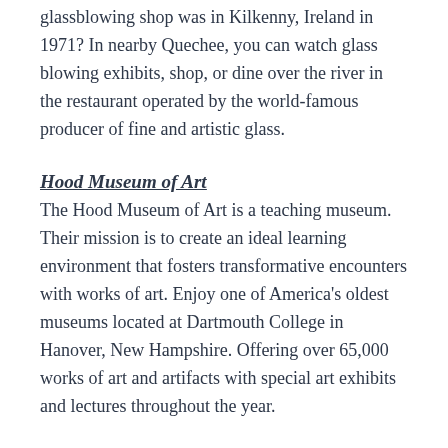glassblowing shop was in Kilkenny, Ireland in 1971? In nearby Quechee, you can watch glass blowing exhibits, shop, or dine over the river in the restaurant operated by the world-famous producer of fine and artistic glass.
Hood Museum of Art
The Hood Museum of Art is a teaching museum. Their mission is to create an ideal learning environment that fosters transformative encounters with works of art. Enjoy one of America's oldest museums located at Dartmouth College in Hanover, New Hampshire. Offering over 65,000 works of art and artifacts with special art exhibits and lectures throughout the year.
Silver Lake
The Silver Lake State Park encompasses the northern shoreline of eight-four acres